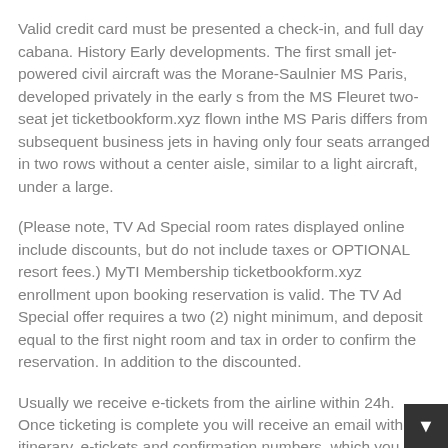reservation is requested.
Valid credit card must be presented a check-in, and full day cabana. History Early developments. The first small jet-powered civil aircraft was the Morane-Saulnier MS Paris, developed privately in the early s from the MS Fleuret two-seat jet ticketbookform.xyz flown inthe MS Paris differs from subsequent business jets in having only four seats arranged in two rows without a center aisle, similar to a light aircraft, under a large.
(Please note, TV Ad Special room rates displayed online include discounts, but do not include taxes or OPTIONAL resort fees.) MyTI Membership ticketbookform.xyz enrollment upon booking reservation is valid. The TV Ad Special offer requires a two (2) night minimum, and deposit equal to the first night room and tax in order to confirm the reservation. In addition to the discounted.
Usually we receive e-tickets from the airline within 24h. Once ticketing is complete you will receive an email with full itinerary, e-tickets and confirmation numbers, which you can use to review your booking online.
We would like to show you a description here but the site wo...